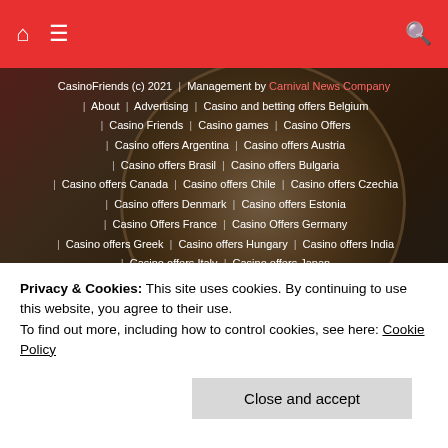CasinoFriends - header navigation bar with home, menu, search icons
CasinoFriends (c) 2021 | Management by Carnival News Company | About | Advertising | Casino and betting offers Belgium | Casino Friends | Casino games | Casino Offers | Casino offers Argentina | Casino offers Austria | Casino offers Brasil | Casino offers Bulgaria | Casino offers Canada | Casino offers Chile | Casino offers Czechia | Casino offers Denmark | Casino offers Estonia | Casino Offers France | Casino Offers Germany | Casino offers Greek | Casino offers Hungary | Casino offers India | Casino offers Italy | Casino offers Japan | Casino offers Latin Americas | Casino offers New Zealand | Casino Offers Norway | Casino offers Peru | Casino offers Poland
Privacy & Cookies: This site uses cookies. By continuing to use this website, you agree to their use.
To find out more, including how to control cookies, see here: Cookie Policy
Close and accept